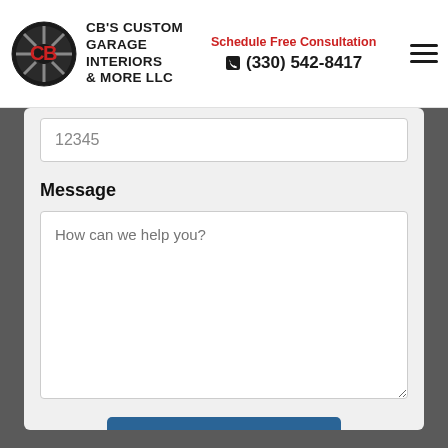CB'S CUSTOM GARAGE INTERIORS & MORE LLC | Schedule Free Consultation | (330) 542-8417
[Figure (screenshot): Website screenshot showing a contact form with a zip code field, message textarea with placeholder 'How can we help you?', and a 'Get Started Today' button. The header contains the CB's Custom Garage Interiors & More LLC logo, a phone number (330) 542-8417 with 'Schedule Free Consultation' text, and a hamburger menu icon.]
12345
Message
How can we help you?
Get Started Today